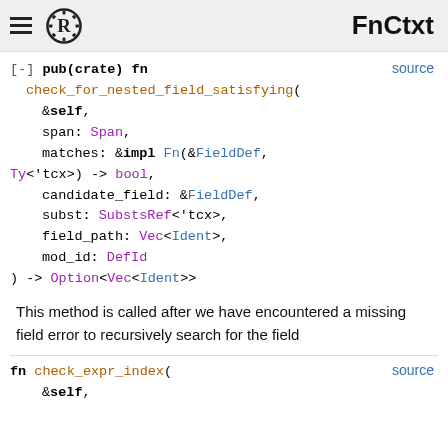FnCtxt
[-] pub(crate) fn check_for_nested_field_satisfying(
    &self,
    span: Span,
    matches: &impl Fn(&FieldDef, Ty<'tcx>) -> bool,
    candidate_field: &FieldDef,
    subst: SubstsRef<'tcx>,
    field_path: Vec<Ident>,
    mod_id: DefId
) -> Option<Vec<Ident>>
This method is called after we have encountered a missing field error to recursively search for the field
fn check_expr_index(
    &self,